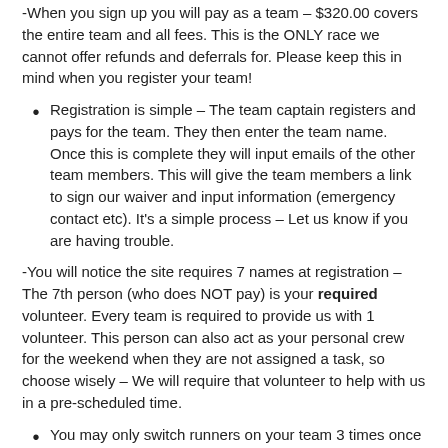-When you sign up you will pay as a team – $320.00 covers the entire team and all fees. This is the ONLY race we cannot offer refunds and deferrals for. Please keep this in mind when you register your team!
Registration is simple – The team captain registers and pays for the team. They then enter the team name. Once this is complete they will input emails of the other team members. This will give the team members a link to sign our waiver and input information (emergency contact etc). It's a simple process – Let us know if you are having trouble.
-You will notice the site requires 7 names at registration – The 7th person (who does NOT pay) is your required volunteer. Every team is required to provide us with 1 volunteer. This person can also act as your personal crew for the weekend when they are not assigned a task, so choose wisely – We will require that volunteer to help with us in a pre-scheduled time.
You may only switch runners on your team 3 times once registration is complete. All changes must be complete to the teams by July 31st. There will not changing of team members after  July 31st